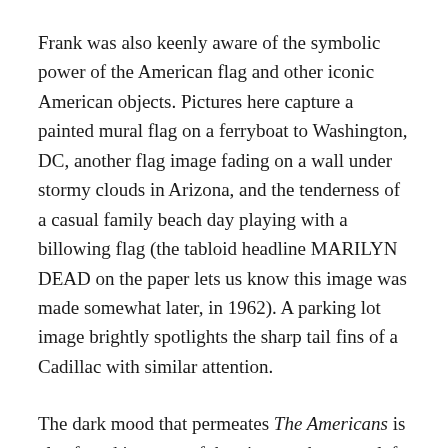Frank was also keenly aware of the symbolic power of the American flag and other iconic American objects. Pictures here capture a painted mural flag on a ferryboat to Washington, DC, another flag image fading on a wall under stormy clouds in Arizona, and the tenderness of a casual family beach day playing with a billowing flag (the tabloid headline MARILYN DEAD on the paper lets us know this image was made somewhat later, in 1962). A parking lot image brightly spotlights the sharp tail fins of a Cadillac with similar attention.
The dark mood that permeates The Americans is also found in many of the pictures that were left out of the final edit. The desolate headlights on the Wyoming highway, the mushroom cloud postcard in the rack of Hoover Dam views, the rows of empty mailboxes in